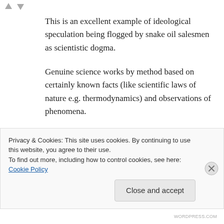This is an excellent example of ideological speculation being flogged by snake oil salesmen as scientistic dogma.
Genuine science works by method based on certainly known facts (like scientific laws of nature e.g. thermodynamics) and observations of phenomena.
Scientism, on the other hand, begins with the assumption of the desired outcome then seeks
Privacy & Cookies: This site uses cookies. By continuing to use this website, you agree to their use.
To find out more, including how to control cookies, see here: Cookie Policy
WORDPRESS.COM